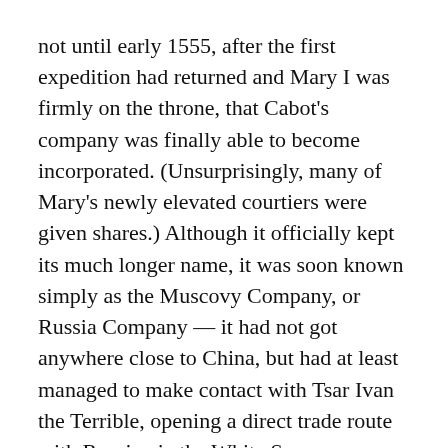not until early 1555, after the first expedition had returned and Mary I was firmly on the throne, that Cabot's company was finally able to become incorporated. (Unsurprisingly, many of Mary's newly elevated courtiers were given shares.) Although it officially kept its much longer name, it was soon known simply as the Muscovy Company, or Russia Company — it had not got anywhere close to China, but had at least managed to make contact with Tsar Ivan the Terrible, opening a direct trade route with Russia via the White Sea.
Thus, in the 1550s, Cabot leveraged the patent monopoly on invention to create a whole new institution for funding innovation and discovery. And once he did so, despite the Muscovy Company's financial troubles, the precedent was set. In the 1560s